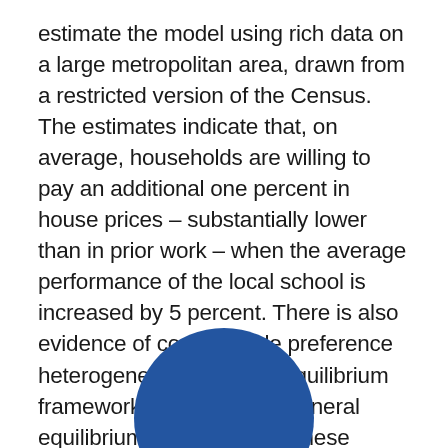estimate the model using rich data on a large metropolitan area, drawn from a restricted version of the Census. The estimates indicate that, on average, households are willing to pay an additional one percent in house prices – substantially lower than in prior work – when the average performance of the local school is increased by 5 percent. There is also evidence of considerable preference heterogeneity. Using our equilibrium framework to explore the general equilibrium implications of these estimates, we show that the full capitalization of school quality into housing prices is typically 70-75 percent greater than the direct effect. This is the result of a social multiplier, neglected in the prior literature, whereby increases in school quality also raise housing prices by attracting households with